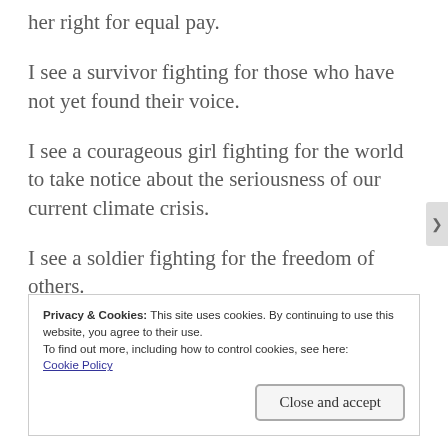her right for equal pay.
I see a survivor fighting for those who have not yet found their voice.
I see a courageous girl fighting for the world to take notice about the seriousness of our current climate crisis.
I see a soldier fighting for the freedom of others.
Privacy & Cookies: This site uses cookies. By continuing to use this website, you agree to their use.
To find out more, including how to control cookies, see here: Cookie Policy
Close and accept